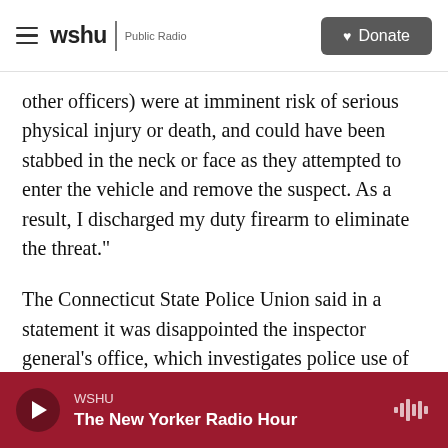wshu | Public Radio  Donate
other officers) were at imminent risk of serious physical injury or death, and could have been stabbed in the neck or face as they attempted to enter the vehicle and remove the suspect. As a result, I discharged my duty firearm to eliminate the threat."
The Connecticut State Police Union said in a statement it was disappointed the inspector general's office, which investigates police use of deadly force, decided to prosecute North. The union defended North's actions.
WSHU  The New Yorker Radio Hour